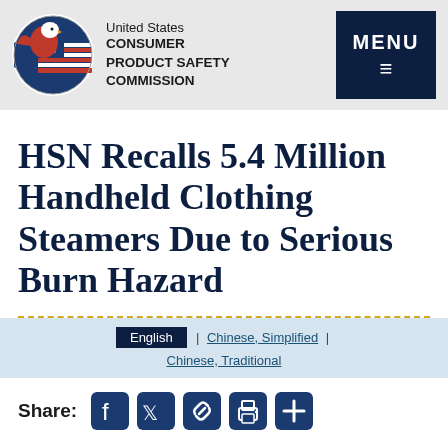United States CONSUMER PRODUCT SAFETY COMMISSION
HSN Recalls 5.4 Million Handheld Clothing Steamers Due to Serious Burn Hazard
English | Chinese, Simplified | Chinese, Traditional
Share: